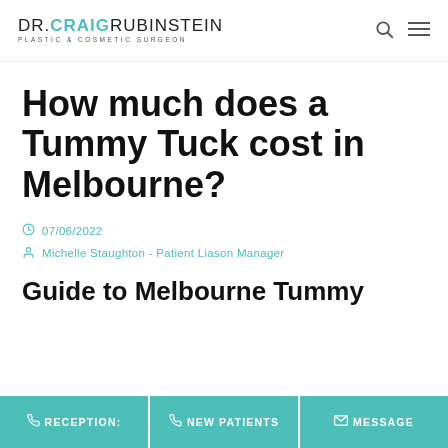DR. CRAIG RUBINSTEIN PLASTIC & COSMETIC SURGEON
How much does a Tummy Tuck cost in Melbourne?
07/06/2022
Michelle Staughton - Patient Liason Manager
Guide to Melbourne Tummy
RECEPTION: | NEW PATIENTS | MESSAGE